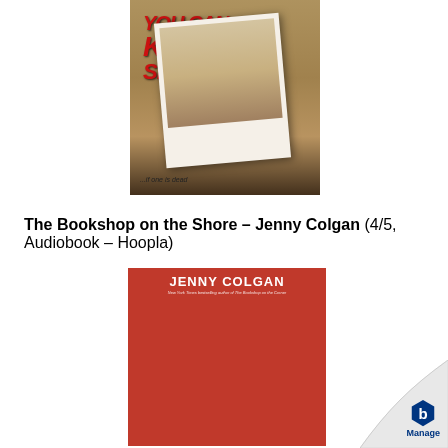[Figure (illustration): Book cover: 'You Can Keep A Secret' – dark background with a blonde woman's hair, a polaroid photo overlay, and red graffiti-style lettering reading 'KEEP A SECRET', with tagline '...if one is dead']
The Bookshop on the Shore – Jenny Colgan (4/5, Audiobook – Hoopla)
[Figure (illustration): Book cover: 'The Bookshop on the Shore' by Jenny Colgan – red background with author name at top, storefront of a bookshop with scalloped red awning, and an oval label reading 'The Bookshop on the Shore – A Novel']